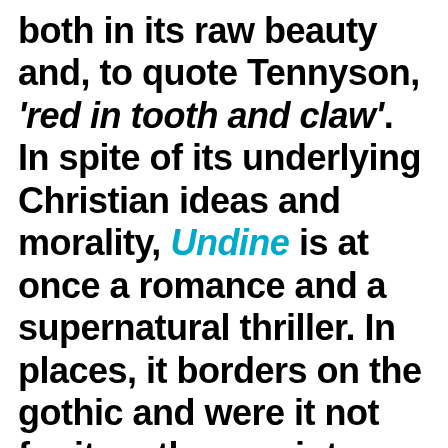both in its raw beauty and, to quote Tennyson, 'red in tooth and claw'. In spite of its underlying Christian ideas and morality, Undine is at once a romance and a supernatural thriller. In places, it borders on the gothic and were it not for its rather quaint language – both in the original and in translation – it might well fit into the modern horror genre. The manner of Huldbrand's end tingles the